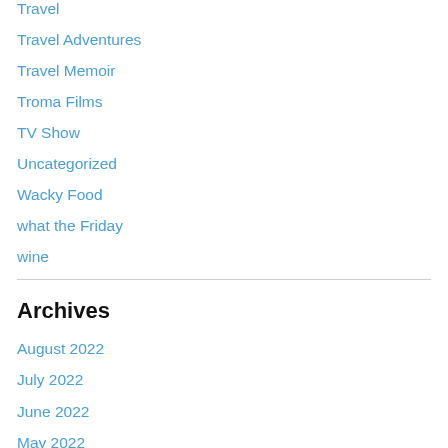Travel
Travel Adventures
Travel Memoir
Troma Films
TV Show
Uncategorized
Wacky Food
what the Friday
wine
Archives
August 2022
July 2022
June 2022
May 2022
April 2022
March 2022
February 2022
January 2022